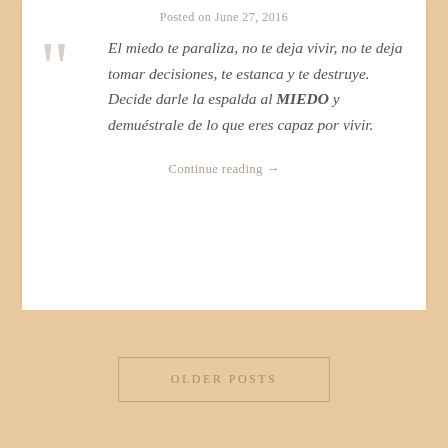Posted on June 27, 2016
El miedo te paraliza, no te deja vivir, no te deja tomar decisiones, te estanca y te destruye. Decide darle la espalda al MIEDO y demuéstrale de lo que eres capaz por vivir.
Continue reading →
OLDER POSTS